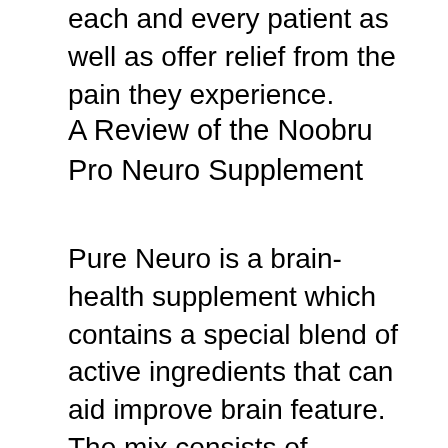each and every patient as well as offer relief from the pain they experience.
A Review of the Noobru Pro Neuro Supplement
Pure Neuro is a brain-health supplement which contains a special blend of active ingredients that can aid improve brain feature. The mix consists of Ginseng, a all-natural anti-aging natural herb, and also various other natural herbs recognized to promote health. Ginseng is a great method to shield on your own from memory loss problems, as well as lowering your danger of Alzheimer's condition and stroke. Reishi mushroom is another popular active ingredient, and also it can improve mind